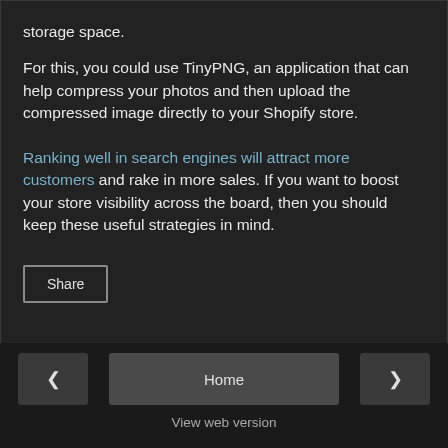storage space.
For this, you could use TinyPNG, an application that can help compress your photos and then upload the compressed image directly to your Shopify store.
Ranking well in search engines will attract more customers and rake in more sales. If you want to boost your store visibility across the board, then you should keep these useful strategies in mind.
Share
Home  View web version